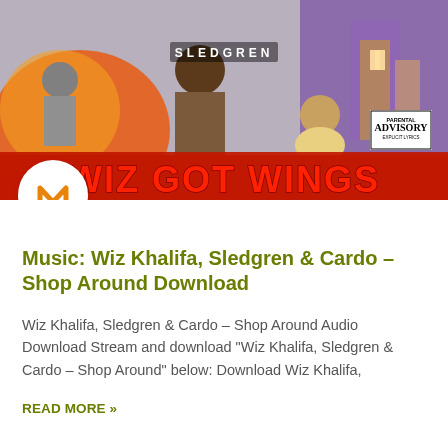[Figure (illustration): Album art for 'Wiz Got Wings' by Sledgren featuring hip-hop illustrated characters with colorful background and 'WIZ GOT WINGS' text in red bold letters. Parental Advisory sticker visible.]
Music: Wiz Khalifa, Sledgren & Cardo – Shop Around Download
Wiz Khalifa, Sledgren & Cardo – Shop Around Audio Download Stream and download "Wiz Khalifa, Sledgren & Cardo – Shop Around" below: Download Wiz Khalifa,
READ MORE »